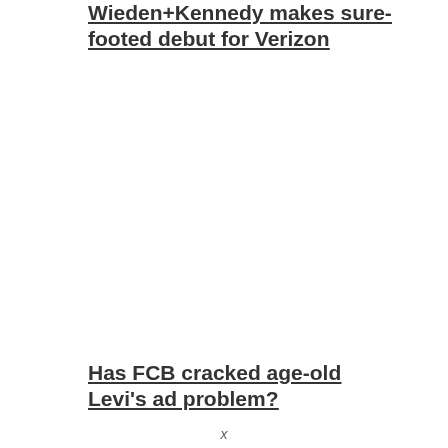Wieden+Kennedy makes sure-footed debut for Verizon
Has FCB cracked age-old Levi's ad problem?
x